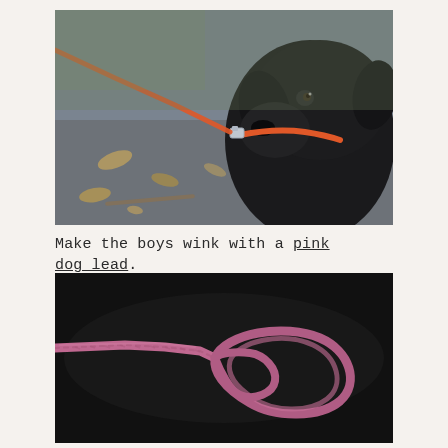[Figure (photo): A black Labrador dog wearing an orange collar, with an orange/red leash clipped to the collar. The dog is photographed outdoors on a path with autumn leaves, shot from a low angle showing the leash stretching to the left. Blurred background with muted greens and grays.]
Make the boys wink with a pink dog lead.
[Figure (photo): A pink/mauve woven nylon dog lead (leash) coiled and laid flat on a dark black background. The lead has a handle loop on the right and the strap extends to the left. The texture of the nylon webbing is visible.]